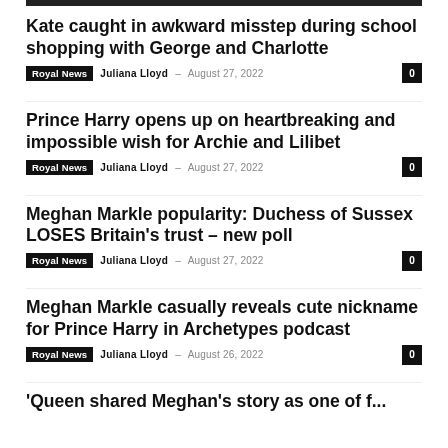Kate caught in awkward misstep during school shopping with George and Charlotte
Royal News  Juliana Lloyd – August 27, 2022  0
Prince Harry opens up on heartbreaking and impossible wish for Archie and Lilibet
Royal News  Juliana Lloyd – August 27, 2022  0
Meghan Markle popularity: Duchess of Sussex LOSES Britain's trust – new poll
Royal News  Juliana Lloyd – August 27, 2022  0
Meghan Markle casually reveals cute nickname for Prince Harry in Archetypes podcast
Royal News  Juliana Lloyd – August 26, 2022  0
'Queen shared Meghan's story as one of f...